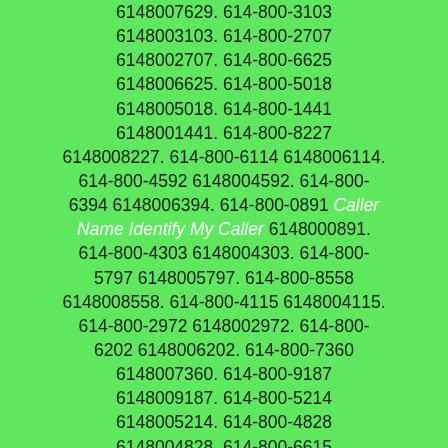6148007629. 614-800-3103 6148003103. 614-800-2707 6148002707. 614-800-6625 6148006625. 614-800-5018 6148005018. 614-800-1441 6148001441. 614-800-8227 6148008227. 614-800-6114 6148006114. 614-800-4592 6148004592. 614-800-6394 6148006394. 614-800-0891 Caller Name Identify My Caller 6148000891. 614-800-4303 6148004303. 614-800-5797 6148005797. 614-800-8558 6148008558. 614-800-4115 6148004115. 614-800-2972 6148002972. 614-800-6202 6148006202. 614-800-7360 6148007360. 614-800-9187 6148009187. 614-800-5214 6148005214. 614-800-4828 6148004828. 614-800-6615 6148006615. 614-800-4164 6148004164. 614-800-4083 6148004083. 614-800-8804 6148008804. 614-800-7565 6148007565. 614-800-1619 6148001619. 614-800-2754 6148002754. 614-800-1214